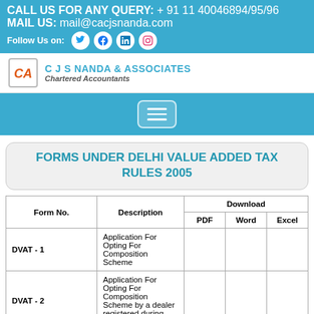CALL US FOR ANY QUERY: + 91 11 40046894/95/96
MAIL US: mail@cacjsnanda.com
Follow Us on: [social icons]
[Figure (logo): CJS Nanda & Associates Chartered Accountants logo with CA monogram]
[Figure (screenshot): Navigation hamburger menu button]
FORMS UNDER DELHI VALUE ADDED TAX RULES 2005
| Form No. | Description | Download > PDF | Download > Word | Download > Excel |
| --- | --- | --- | --- | --- |
| DVAT - 1 | Application For Opting For Composition Scheme |  |  |  |
| DVAT - 2 | Application For Opting For Composition Scheme by a dealer registered during transition |  |  |  |